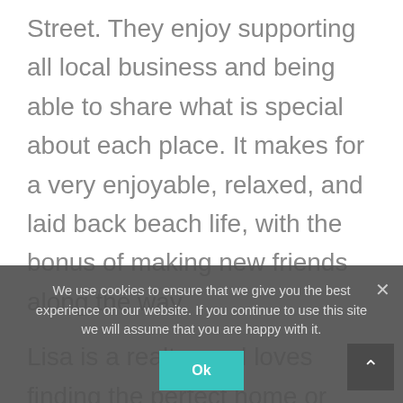Street. They enjoy supporting all local business and being able to share what is special about each place. It makes for a very enjoyable, relaxed, and laid back beach life, with the bonus of making new friends along the way.
Lisa is a realtor and loves finding the perfect home or second home for anyone who is looking to buy in this area. She plays concierge to the many people passing through that need suggestions on dining, what to do for fun, fishing tours, surfing lessons, farmers markets, flea markets, festivals, art, yoga, skin care, and everything besides.
We look forward to talking to you soon!
John, Lisa, Lia
We use cookies to ensure that we give you the best experience on our website. If you continue to use this site we will assume that you are happy with it.